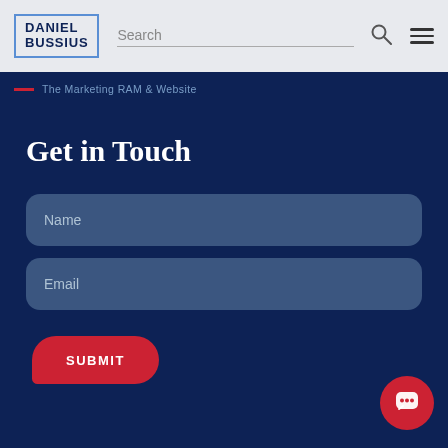DANIEL BUSSIUS | Search
The Marketing RAM & Website
Get in Touch
Name
Email
SUBMIT
[Figure (other): Chat bubble button icon in red circle, bottom right corner]